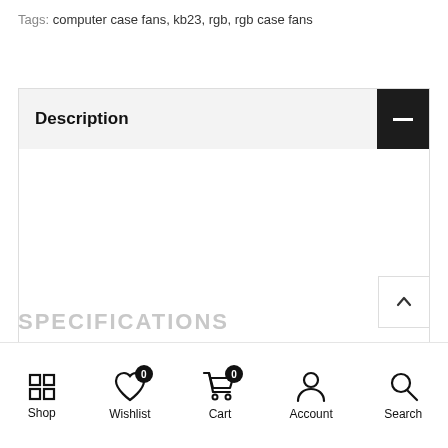Tags: computer case fans, kb23, rgb, rgb case fans
Description
SPECIFICATIONS
Shop | Wishlist 0 | Cart 0 | Account | Search